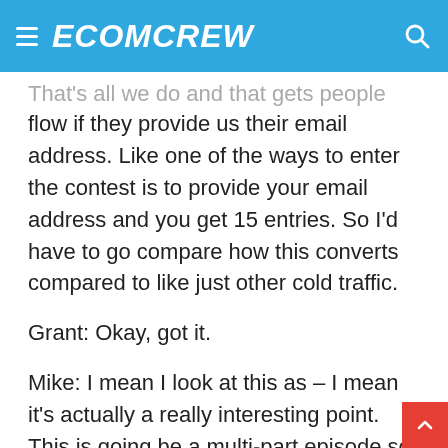ECOMCREW
That's all we do and that gets people into this flow if they provide us their email address.  Like one of the ways to enter the contest is to provide your email address and you get 15 entries.  So I'd have to go compare how this converts compared to like just other cold traffic.
Grant:  Okay, got it.
Mike:   I mean I look at this as – I mean it's actually a really interesting point.  This is going be a multi-part episode so it's something I'll research and mention later in this series.